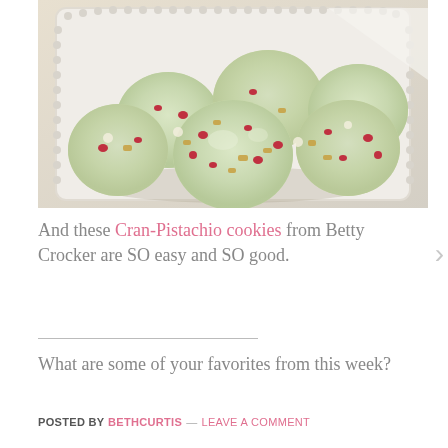[Figure (photo): A white ceramic beaded tray holding a pile of pale green pistachio and cranberry cookies. The cookies are round and soft-looking with visible red cranberry pieces and golden pistachio chunks throughout. A white cloth napkin is visible in the background corner.]
And these Cran-Pistachio cookies from Betty Crocker are SO easy and SO good.
What are some of your favorites from this week?
POSTED BY BETHCURTIS — LEAVE A COMMENT